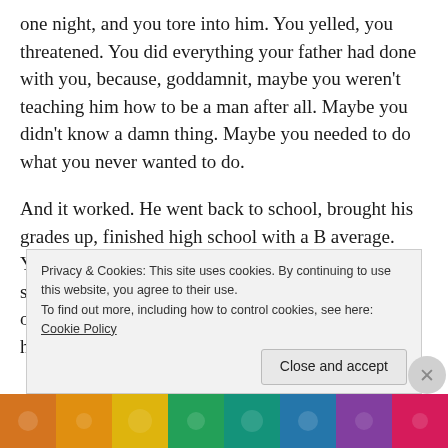one night, and you tore into him. You yelled, you threatened. You did everything your father had done with you, because, goddamnit, maybe you weren't teaching him how to be a man after all. Maybe you didn't know a damn thing. Maybe you needed to do what you never wanted to do.
And it worked. He went back to school, brought his grades up, finished high school with a B average. You'd done your job. Maybe he didn't get that scholarship. Maybe he wasn't going to Notre Dame or NYU or anywhere else. But he'd made it through high school, and
Privacy & Cookies: This site uses cookies. By continuing to use this website, you agree to their use.
To find out more, including how to control cookies, see here: Cookie Policy
[Figure (photo): Colorful patterned banner/image strip at the bottom of the page with geometric patterns in orange, yellow, green, teal, blue, purple, and pink colors.]